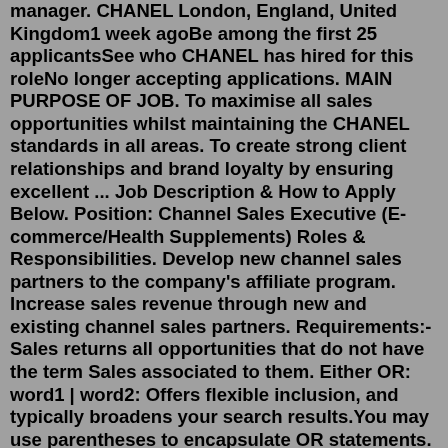manager. CHANEL London, England, United Kingdom1 week agoBe among the first 25 applicantsSee who CHANEL has hired for this roleNo longer accepting applications. MAIN PURPOSE OF JOB. To maximise all sales opportunities whilst maintaining the CHANEL standards in all areas. To create strong client relationships and brand loyalty by ensuring excellent ... Job Description & How to Apply Below. Position: Channel Sales Executive (E-commerce/Health Supplements) Roles & Responsibilities. Develop new channel sales partners to the company's affiliate program. Increase sales revenue through new and existing channel sales partners. Requirements:-Sales returns all opportunities that do not have the term Sales associated to them. Either OR: word1 | word2: Offers flexible inclusion, and typically broadens your search results.You may use parentheses to encapsulate OR statements. Developer + (apache | weblogic | websphere) returns Developer opportunities with at